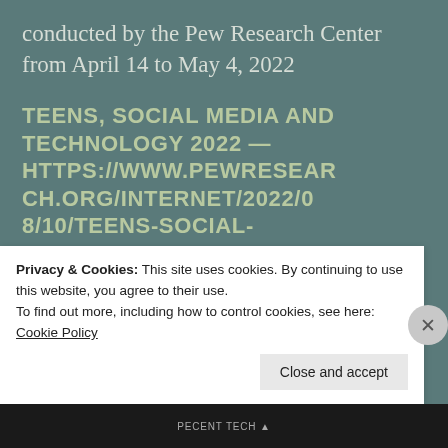conducted by the Pew Research Center from April 14 to May 4, 2022
TEENS, SOCIAL MEDIA AND TECHNOLOGY 2022 — HTTPS://WWW.PEWRESEARCH.ORG/INTERNET/2022/08/10/TEENS-SOCIAL-
Privacy & Cookies: This site uses cookies. By continuing to use this website, you agree to their use. To find out more, including how to control cookies, see here: Cookie Policy
Close and accept